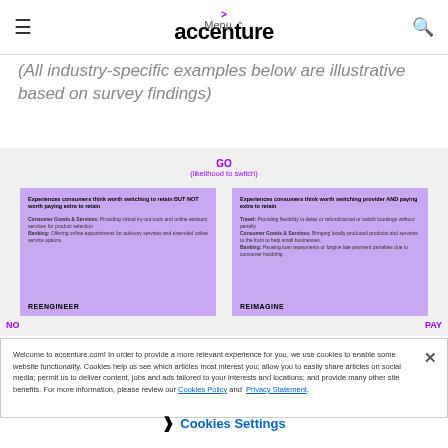accenture
(All industry-specific examples below are illustrative based on survey findings)
[Figure (infographic): A 2x2 quadrant style diagram showing consumer switching behavior. Labels: GO (likelihood to switch) on top, NO on left, PAY on right. Two purple boxes shown: left box labeled REENGINEER, right box labeled REIMAGINE.]
Welcome to accenture.com! In order to provide a more relevant experience for you, we use cookies to enable some website functionality. Cookies help us see which articles most interest you; allow you to easily share articles on social media; permit us to deliver content, jobs and ads tailored to your interests and locations; and provide many other site benefits. For more information, please review our Cookies Policy and Privacy Statement.
Cookies Settings